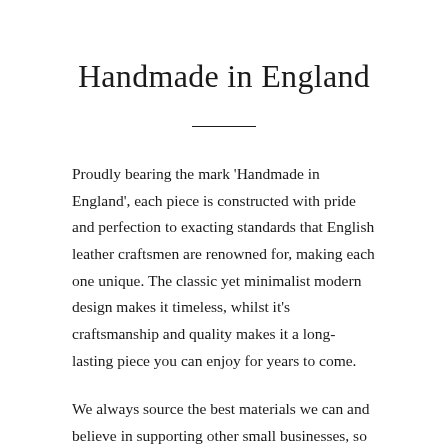Handmade in England
Proudly bearing the mark 'Handmade in England', each piece is constructed with pride and perfection to exacting standards that English leather craftsmen are renowned for, making each one unique. The classic yet minimalist modern design makes it timeless, whilst it's craftsmanship and quality makes it a long-lasting piece you can enjoy for years to come.
We always source the best materials we can and believe in supporting other small businesses, so our manufacturers, suppliers and merchants are all British-based and most are